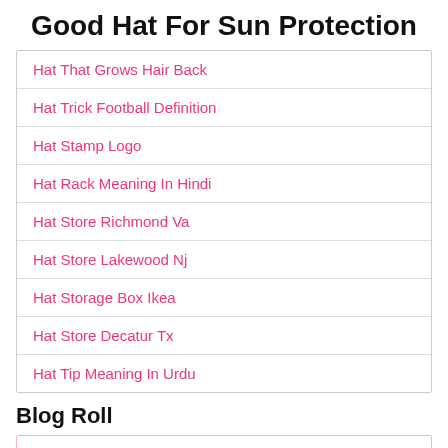Good Hat For Sun Protection
Hat That Grows Hair Back
Hat Trick Football Definition
Hat Stamp Logo
Hat Rack Meaning In Hindi
Hat Store Richmond Va
Hat Store Lakewood Nj
Hat Storage Box Ikea
Hat Store Decatur Tx
Hat Tip Meaning In Urdu
Blog Roll
PNG Image